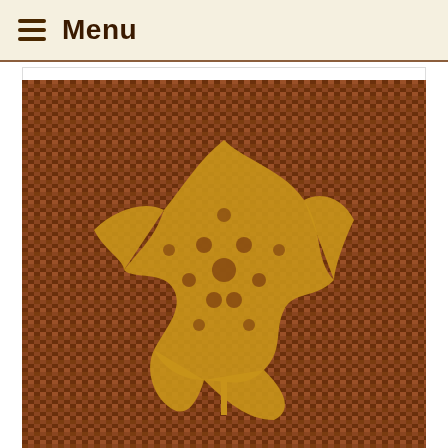Menu
[Figure (photo): A golden/yellow lace maple leaf motif (FSL Battenberg style) resting on a woven brown rattan/bamboo mat background]
FSL Battenberg Maple Leaf
[Figure (photo): Two white lace triangular earrings with ear hooks on a beige/tan background]